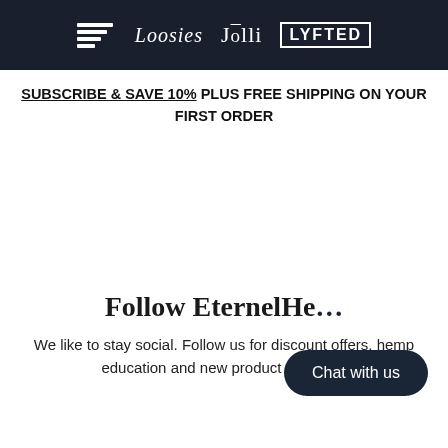[Logos: EternelHemp brand stripe, Loosies, Jolli, LyftED]
SUBSCRIBE & SAVE 10% PLUS FREE SHIPPING ON YOUR FIRST ORDER
Follow EternelHe…
We like to stay social. Follow us for discount offers, hemp education and new product releases.
Chat with us